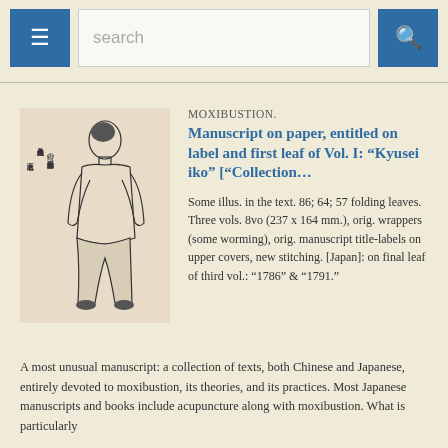search
[Figure (illustration): Black and white line drawing of a standing human figure in Japanese manuscript style, with Japanese text columns on the right side]
MOXIBUSTION.
Manuscript on paper, entitled on label and first leaf of Vol. I: “Kyusei iko” [“Collection…
Some illus. in the text. 86; 64; 57 folding leaves. Three vols. 8vo (237 x 164 mm.), orig. wrappers (some worming), orig. manuscript title-labels on upper covers, new stitching. [Japan]: on final leaf of third vol.: “1786” & “1791.”
A most unusual manuscript: a collection of texts, both Chinese and Japanese, entirely devoted to moxibustion, its theories, and its practices. Most Japanese manuscripts and books include acupuncture along with moxibustion. What is particularly